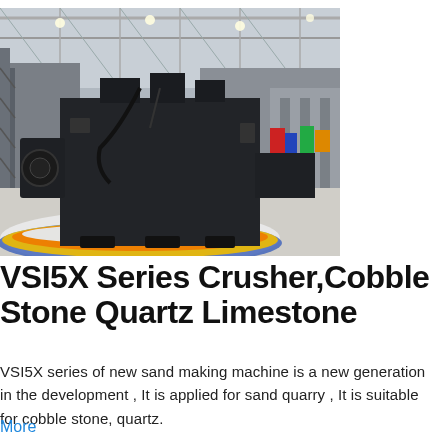[Figure (photo): Industrial VSI5X series crusher machine displayed on a circular platform with blue, yellow and orange base inside a large warehouse/exhibition hall. The black heavy machinery sits on white aggregate/gravel.]
VSI5X Series Crusher,Cobble Stone Quartz Limestone
VSI5X series of new sand making machine is a new generation in the development , It is applied for sand quarry , It is suitable for cobble stone, quartz.
More